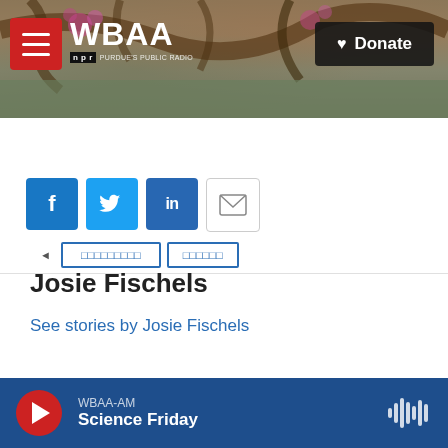[Figure (screenshot): WBAA NPR radio station website header with tree/branch background photo, red hamburger menu button, WBAA logo, and black Donate button with heart icon]
[Figure (screenshot): Partial navigation bar with two blue outline buttons]
[Figure (screenshot): Social share buttons: Facebook (blue), Twitter (blue), LinkedIn (blue), Email (white/gray outline)]
Josie Fischels
See stories by Josie Fischels
[Figure (screenshot): Footer audio player bar with WBAA-AM station, Science Friday show, red play button, and waveform icon]